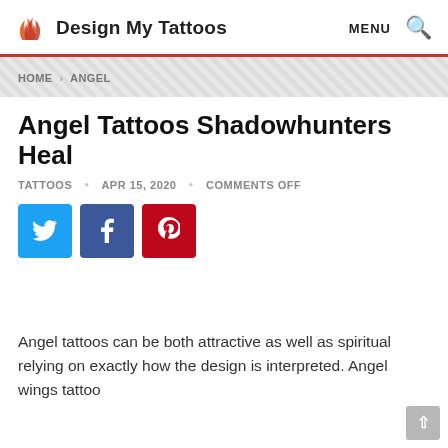Design My Tattoos  MENU 🔍
HOME > ANGEL
Angel Tattoos Shadowhunters Heal
TATTOOS • APR 15, 2020 • COMMENTS OFF
[Figure (other): Social share buttons: Twitter (blue), Facebook (dark blue), Pinterest (red)]
Angel tattoos can be both attractive as well as spiritual relying on exactly how the design is interpreted. Angel wings tattoo